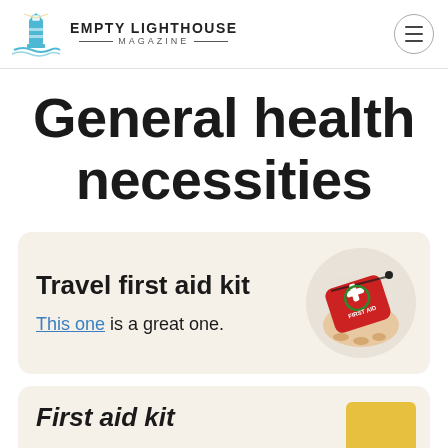Empty Lighthouse Magazine
General health necessities
Travel first aid kit
This one is a great one.
[Figure (photo): Hand holding a red travel first aid kit bag with a green cross logo]
First aid kit (partial, cut off)